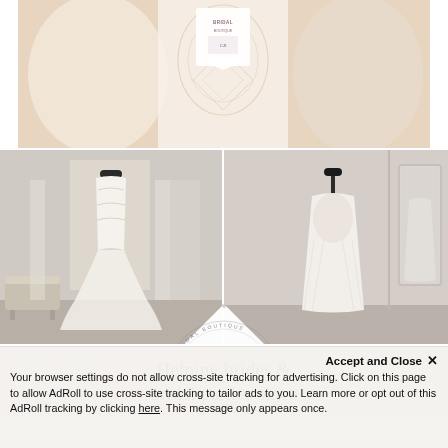[Figure (photo): Close-up photo of white/ivory lace bridal gowns on hangers with a small white tag badge reading BRIDAL]
[Figure (photo): Collage of two bridal boutique interior photos: left shows a mermaid-style beaded wedding dress on a mannequin in a boutique showroom; right shows a flowing A-line bridal gown on a mannequin in a bridal showroom with mirror. A white diamond-shaped Clarice's Bridal logo overlay is centered between the two photos.]
[Figure (photo): Lower portion of bridal boutique collage with text overlay reading 'Helping brides & bridal parties since']
Accept and Close ×
Your browser settings do not allow cross-site tracking for advertising. Click on this page to allow AdRoll to use cross-site tracking to tailor ads to you. Learn more or opt out of this AdRoll tracking by clicking here. This message only appears once.